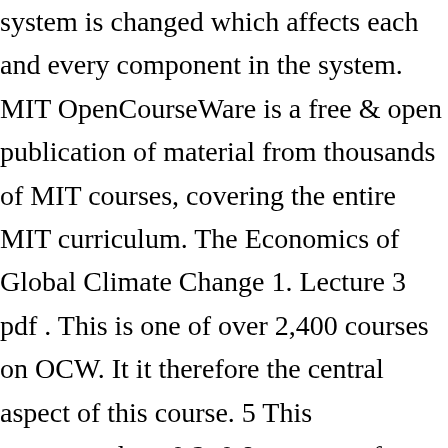system is changed which affects each and every component in the system. MIT OpenCourseWare is a free & open publication of material from thousands of MIT courses, covering the entire MIT curriculum. The Economics of Global Climate Change 1. Lecture 3 pdf . This is one of over 2,400 courses on OCW. It it therefore the central aspect of this course. 5 This corresponds to 0.2–0.8 per cent of global investment flows, or just 0.06–0.21 per cent of projected global GDP, in 2030. Aug. 30 - Sep. 3 . Explore materials for this course in the pages linked along the left. Labor Day. The issue